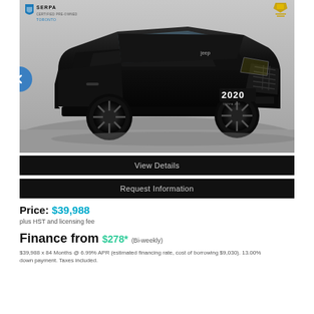[Figure (photo): Black 2020 Jeep Grand Cherokee SUV photographed from a front-three-quarter angle on a light grey background. Serpa Certified Pre-Owned Toronto logo in top-left corner of the image. A navigation left-arrow button overlaps the left edge. A '2020' year badge appears on the lower right of the vehicle.]
View Details
Request Information
Price: $39,988
plus HST and licensing fee
Finance from $278* (Bi-weekly)
$39,988 x 84 Months @ 6.99% APR (estimated financing rate, cost of borrowing $9,030). 13.00% down payment. Taxes included.